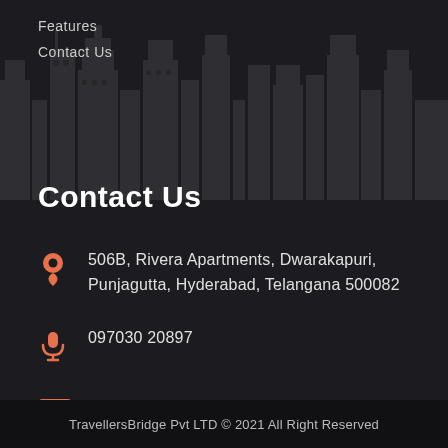Features
Contact Us
Contact Us
506B, Rivera Apartments, Dwarakapuri, Punjagutta, Hyderabad, Telangana 500082
097030 20897
travellersbridge@gmail.com
TravellersBridge Pvt LTD © 2021 All Right Reserved